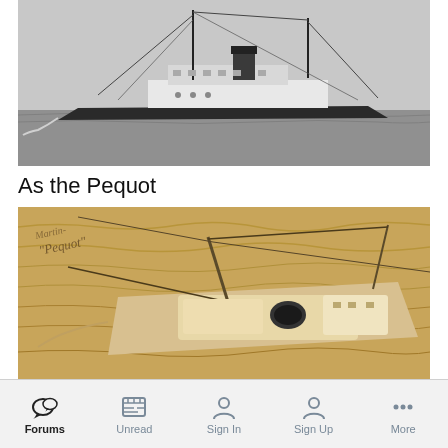[Figure (photo): Black and white photograph of a steamship at sea, with masts, rigging, and a smokestack, viewed from the side.]
As the Pequot
[Figure (photo): Sepia-toned aerial or overhead photograph of a steamship (the Pequot) at sea, showing masts, a smokestack, and deck details from above. Handwritten annotation 'Pequot' visible in the upper left area.]
Forums  Unread  Sign In  Sign Up  More